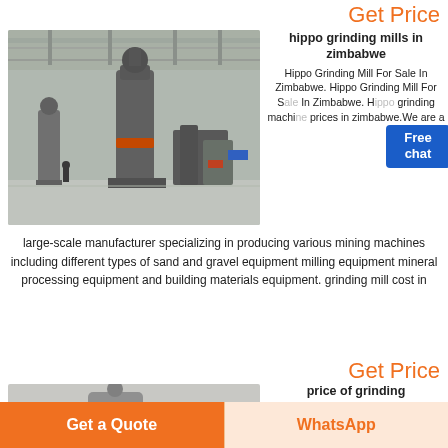Get Price
[Figure (photo): Industrial grinding mill machines inside a large factory/warehouse with tall cylindrical mills and heavy equipment on a polished concrete floor]
hippo grinding mills in zimbabwe
Hippo Grinding Mill For Sale In Zimbabwe. Hippo Grinding Mill For Sale In Zimbabwe. Hippo grinding machine prices in zimbabwe.We are a large-scale manufacturer specializing in producing various mining machines including different types of sand and gravel equipment milling equipment mineral processing equipment and building materials equipment. grinding mill cost in
Get Price
[Figure (photo): Industrial grinding machine, partial view]
price of grinding
Get a Quote
WhatsApp